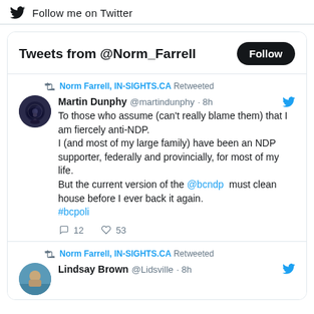Follow me on Twitter
Tweets from @Norm_Farrell
Norm Farrell, IN-SIGHTS.CA Retweeted
Martin Dunphy @martindunphy · 8h
To those who assume (can't really blame them) that I am fiercely anti-NDP.
I (and most of my large family) have been an NDP supporter, federally and provincially, for most of my life.
But the current version of the @bcndp  must clean house before I ever back it again.
#bcpoli
12  53
Norm Farrell, IN-SIGHTS.CA Retweeted
Lindsay Brown @Lidsville · 8h